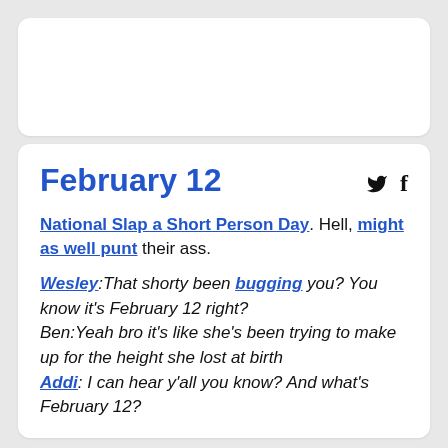[Figure (other): Top white card placeholder, blank]
February 12
National Slap a Short Person Day. Hell, might as well punt their ass.
Wesley:That shorty been bugging you? You know it's February 12 right?
Ben:Yeah bro it's like she's been trying to make up for the height she lost at birth
Addi: I can hear y'all you know? And what's February 12?